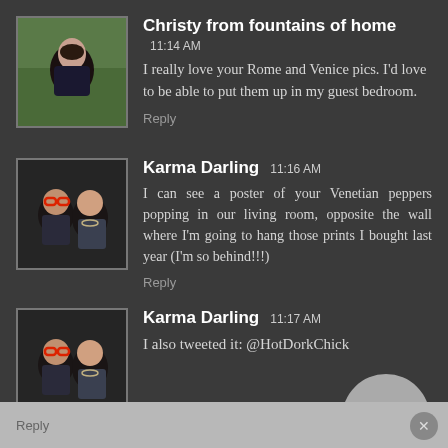Christy from fountains of home 11:14 AM
I really love your Rome and Venice pics. I'd love to be able to put them up in my guest bedroom.
Reply
Karma Darling 11:16 AM
I can see a poster of your Venetian peppers popping in our living room, opposite the wall where I'm going to hang those prints I bought last year (I'm so behind!!!)
Reply
Karma Darling 11:17 AM
I also tweeted it: @HotDorkChick
Reply